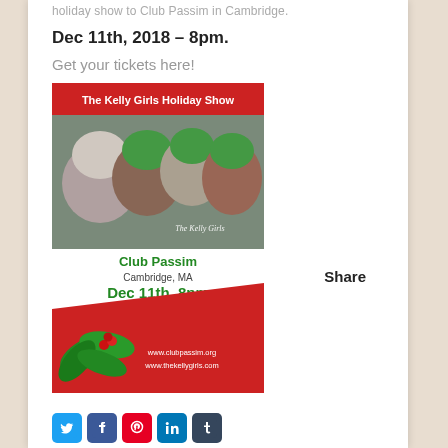holiday show to Club Passim in Cambridge.
Dec 11th, 2018 – 8pm.
Get your tickets here!
[Figure (photo): Promotional poster for The Kelly Girls Holiday Show at Club Passim, Cambridge MA, Dec 11th 8pm (Doors open at 6). Shows four smiling women wearing green and white holiday hats, with holly decoration, and website URLs www.clubpassim.org and www.thekellygirls.com]
Share
Social sharing icons: Twitter, Facebook, Pinterest, LinkedIn, Tumblr